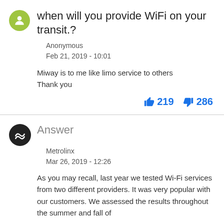when will you provide WiFi on your transit.?
Anonymous
Feb 21, 2019 - 10:01
Miway is to me like limo service to others
Thank you
219  286
Answer
Metrolinx
Mar 26, 2019 - 12:26
As you may recall, last year we tested Wi-Fi services from two different providers. It was very popular with our customers. We assessed the results throughout the summer and fall of